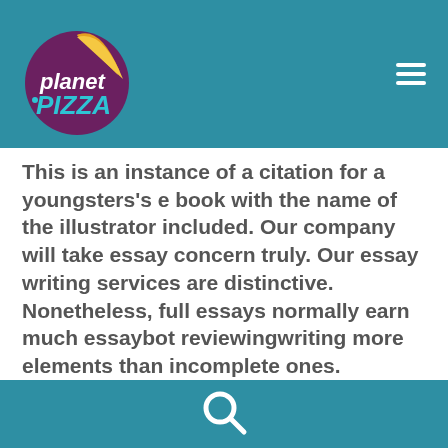[Figure (logo): Planet Pizza logo: circular purple background with a yellow pizza slice on top right and white bold text 'planet' and teal bold text 'PIZZA' in the center]
This is an instance of a citation for a youngsters's e book with the name of the illustrator included. Our company will take essay concern truly. Our essay writing services are distinctive. Nonetheless, full essays normally earn much essaybot reviewingwriting more elements than incomplete ones.
[Figure (illustration): White search magnifying glass icon on teal background in the footer bar]